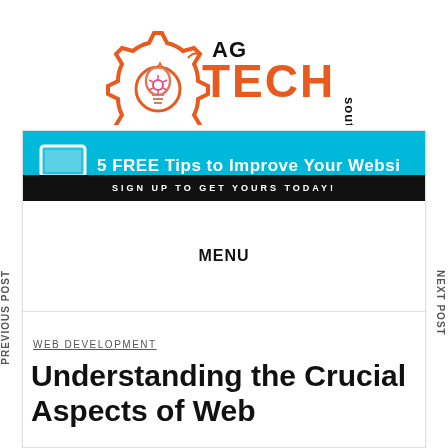[Figure (logo): AG Tech South logo with gear and lightbulb icon, orange TECH text, black AG text, vertical 'south' text]
[Figure (infographic): Cyan banner with monitor icon reading '5 FREE Tips to Improve Your Websi' and black strip below reading 'SIGN UP TO GET YOURS TODAY!']
MENU
PREVIOUS POST
NEXT POST
WEB DEVELOPMENT
Understanding the Crucial Aspects of Web